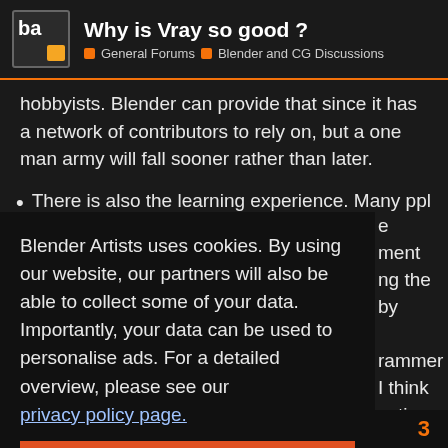Why is Vray so good ? | General Forums | Blender and CG Discussions
hobbyists. Blender can provide that since it has a network of contributors to rely on, but a one man army will fall sooner rather than later.
There is also the learning experience. Many ppl will want
Blender Artists uses cookies. By using our website, our partners will also be able to collect some of your data. Importantly, your data can be used to personalise ads. For a detailed overview, please see our privacy policy page.
Got it!
engine, a userbase with expectations